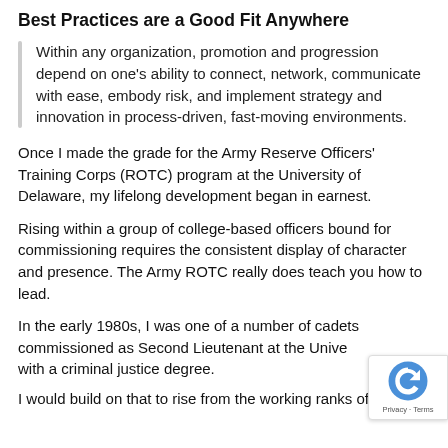Best Practices are a Good Fit Anywhere
Within any organization, promotion and progression depend on one's ability to connect, network, communicate with ease, embody risk, and implement strategy and innovation in process-driven, fast-moving environments.
Once I made the grade for the Army Reserve Officers' Training Corps (ROTC) program at the University of Delaware, my lifelong development began in earnest.
Rising within a group of college-based officers bound for commissioning requires the consistent display of character and presence. The Army ROTC really does teach you how to lead.
In the early 1980s, I was one of a number of cadets commissioned as Second Lieutenant at the University with a criminal justice degree.
I would build on that to rise from the working ranks of